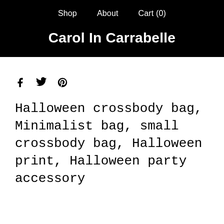Shop    About    Cart (0)
Carol In Carrabelle
[Figure (other): Social share icons: Facebook, Twitter, Pinterest]
Halloween crossbody bag, Minimalist bag, small crossbody bag, Halloween print, Halloween party accessory